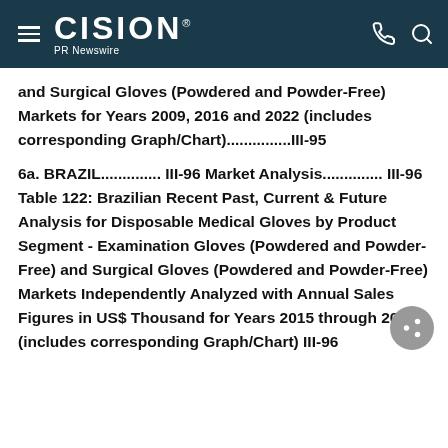CISION PR Newswire
and Surgical Gloves (Powdered and Powder-Free) Markets for Years 2009, 2016 and 2022 (includes corresponding Graph/Chart)...............III-95
6a. BRAZIL.............. III-96 Market Analysis.............. III-96 Table 122: Brazilian Recent Past, Current & Future Analysis for Disposable Medical Gloves by Product Segment - Examination Gloves (Powdered and Powder-Free) and Surgical Gloves (Powdered and Powder-Free) Markets Independently Analyzed with Annual Sales Figures in US$ Thousand for Years 2015 through 2022 (includes corresponding Graph/Chart) III-96